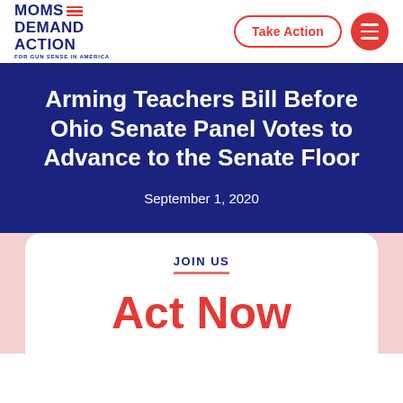[Figure (logo): Moms Demand Action for Gun Sense in America logo with red stripe lines]
Take Action
Arming Teachers Bill Before Ohio Senate Panel Votes to Advance to the Senate Floor
September 1, 2020
JOIN US
Act Now